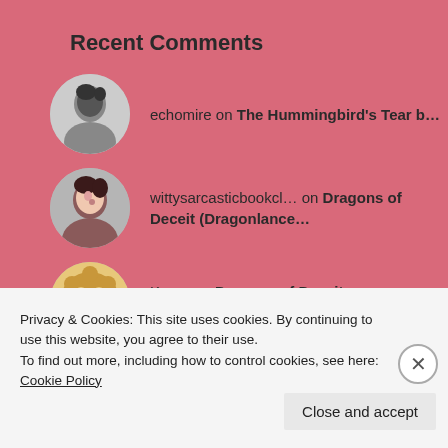Recent Comments
echomire on The Hummingbird's Tear b…
wittysarcasticbookcl… on Dragons of Deceit (Dragonlance…
Karen on Dragons of Deceit (Dragonlance…
Book Review: Dragons… on Dragonlance Reading Order 2022
Privacy & Cookies: This site uses cookies. By continuing to use this website, you agree to their use.
To find out more, including how to control cookies, see here: Cookie Policy
Close and accept